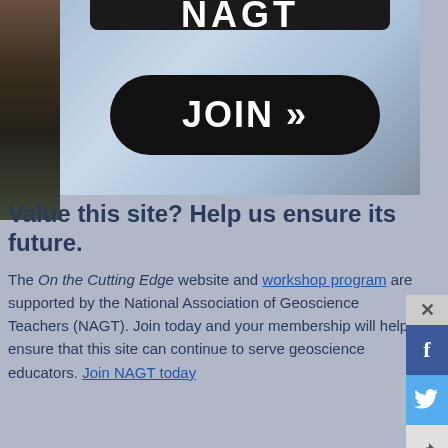[Figure (screenshot): NAGT banner with JOIN button, showing partial logo text at top and a black rounded-rectangle JOIN button with double chevron]
Value this site? Help us ensure its future.
The On the Cutting Edge website and workshop program are supported by the National Association of Geoscience Teachers (NAGT). Join today and your membership will help ensure that this site can continue to serve geoscience educators. Join NAGT today